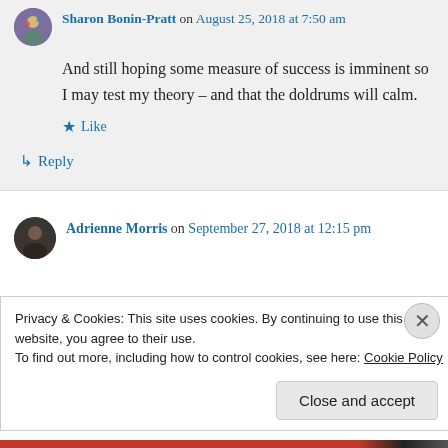Sharon Bonin-Pratt on August 25, 2018 at 7:50 am
And still hoping some measure of success is imminent so I may test my theory – and that the doldrums will calm.
Like
Reply
Adrienne Morris on September 27, 2018 at 12:15 pm
Privacy & Cookies: This site uses cookies. By continuing to use this website, you agree to their use. To find out more, including how to control cookies, see here: Cookie Policy
Close and accept